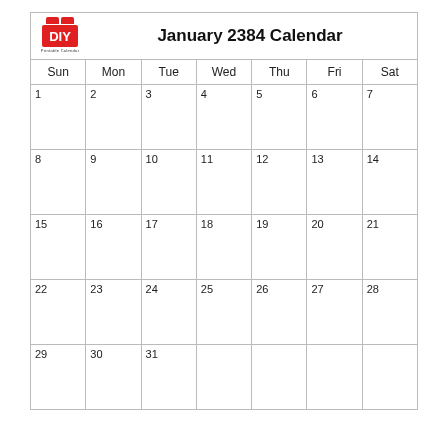January 2384 Calendar
| Sun | Mon | Tue | Wed | Thu | Fri | Sat |
| --- | --- | --- | --- | --- | --- | --- |
| 1 | 2 | 3 | 4 | 5 | 6 | 7 |
| 8 | 9 | 10 | 11 | 12 | 13 | 14 |
| 15 | 16 | 17 | 18 | 19 | 20 | 21 |
| 22 | 23 | 24 | 25 | 26 | 27 | 28 |
| 29 | 30 | 31 |  |  |  |  |